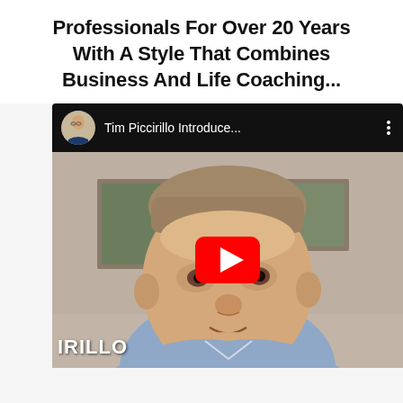Professionals For Over 20 Years With A Style That Combines Business And Life Coaching...
[Figure (screenshot): YouTube video embed showing Tim Piccirillo introducing himself. The video player has a black header bar with a circular avatar photo and title 'Tim Piccirillo Introduce...' with a three-dot menu. The video frame shows a middle-aged man in a blue shirt sitting in front of a framed painting, with a large red YouTube play button overlay in the center. A white text watermark 'IRILLO' appears in the bottom-left corner.]